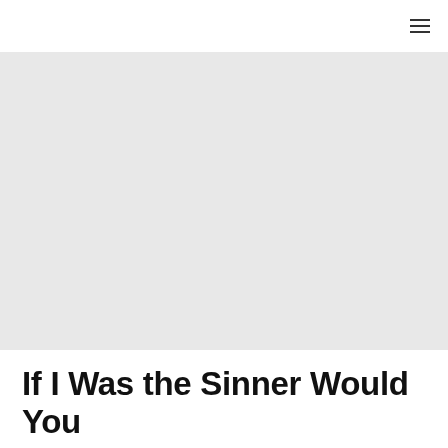[Figure (photo): Large light gray rectangular placeholder image area occupying the upper portion of the page below the navigation header.]
If I Was the Sinner Would You